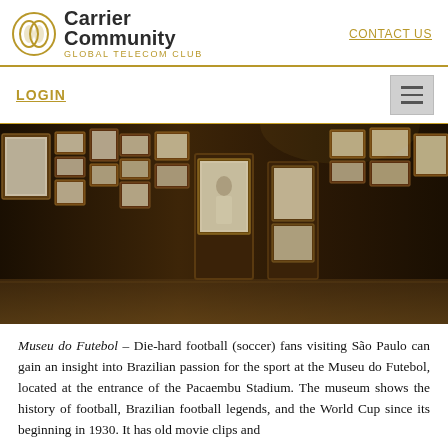Carrier Community — Global Telecom Club | CONTACT US
LOGIN
[Figure (photo): Interior of the Museu do Futebol showing walls and freestanding pillars covered with framed black-and-white historical football photographs in various sizes, in a dark-toned museum room.]
Museu do Futebol – Die-hard football (soccer) fans visiting São Paulo can gain an insight into Brazilian passion for the sport at the Museu do Futebol, located at the entrance of the Pacaembu Stadium. The museum shows the history of football, Brazilian football legends, and the World Cup since its beginning in 1930. It has old movie clips and